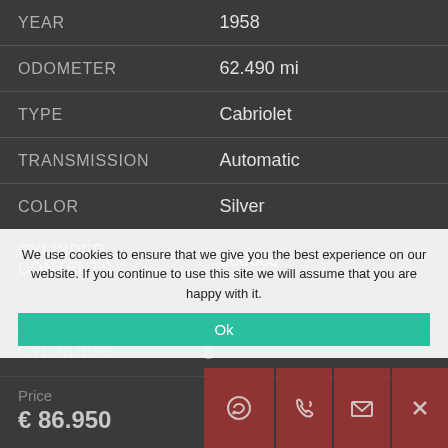| Attribute | Value |
| --- | --- |
| YEAR | 1958 |
| ODOMETER | 62.490 mi |
| TYPE | Cabriolet |
| TRANSMISSION | Automatic |
| COLOR | Silver |
| CYLINDER CONTENTS | 6000cc |
| CYLINDERS | 8 |
Price € 86.950
We use cookies to ensure that we give you the best experience on our website. If you continue to use this site we will assume that you are happy with it. Ok